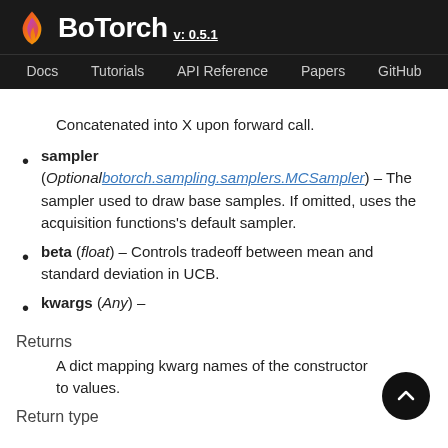BoTorch v: 0.5.1 — Docs | Tutorials | API Reference | Papers | GitHub
Concatenated into X upon forward call.
sampler (Optional[botorch.sampling.samplers.MCSampler]) – The sampler used to draw base samples. If omitted, uses the acquisition functions's default sampler.
beta (float) – Controls tradeoff between mean and standard deviation in UCB.
kwargs (Any) –
Returns
A dict mapping kwarg names of the constructor to values.
Return type